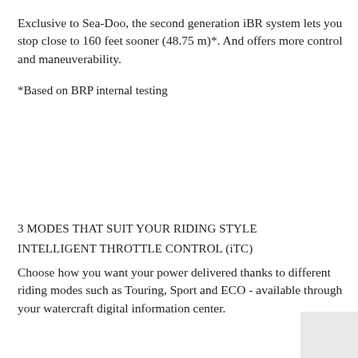Exclusive to Sea-Doo, the second generation iBR system lets you stop close to 160 feet sooner (48.75 m)*. And offers more control and maneuverability.
*Based on BRP internal testing
3 MODES THAT SUIT YOUR RIDING STYLE
INTELLIGENT THROTTLE CONTROL (iTC)
Choose how you want your power delivered thanks to different riding modes such as Touring, Sport and ECO - available through your watercraft digital information center.